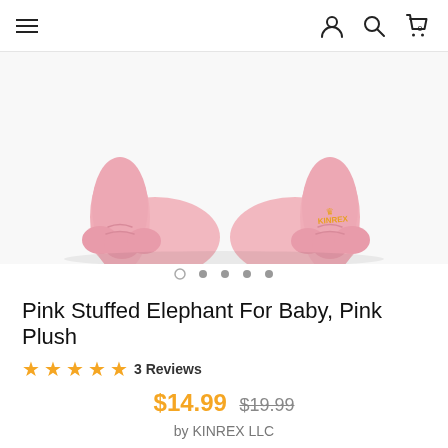Navigation bar with hamburger menu, user icon, search icon, and cart (0)
[Figure (photo): Close-up photo of a pink stuffed elephant toy showing its feet/legs from below against a white background, with a small KINREX logo visible on one foot]
Carousel navigation dots (5 dots, first is outline, rest filled gray)
Pink Stuffed Elephant For Baby, Pink Plush
★★★★★ 3 Reviews
$14.99  $19.99
by KINREX LLC
Type: Plush Toy
SKU: KIN-00685-MF